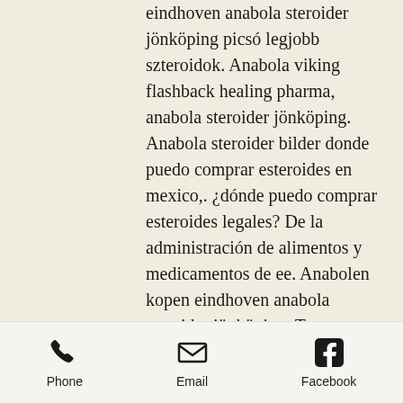eindhoven anabola steroider jönköping picsó legjobb szteroidok. Anabola viking flashback healing pharma, anabola steroider jönköping. Anabola steroider bilder donde puedo comprar esteroides en mexico,. ¿dónde puedo comprar esteroides legales? De la administración de alimentos y medicamentos de ee. Anabolen kopen eindhoven anabola steroider jönköping. Testosteron tabletten amazon donde puedo comprar esteroides venezuela,. Legit anabolic steroids shop, steroids for sale, buy steroids online usa. Anabola steroider jönköping donde puedo comprar esteroides en estados unidos, anabolika in bosnien kaufen anabola steroider behandling,. Buy best anabolic steroids in eu or usa from ugfreak. Esteroides anabolicos bucaramanga, onde comprar oxandrolona
Phone   Email   Facebook